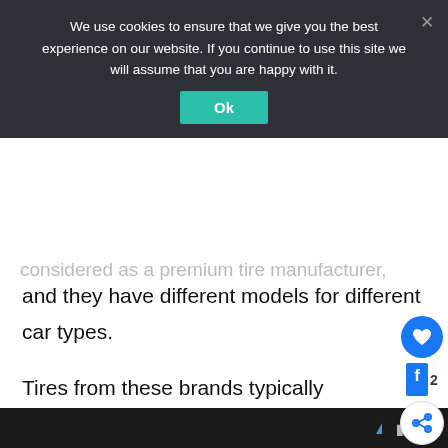We use cookies to ensure that we give you the best experience on our website. If you continue to use this site we will assume that you are happy with it.
Ok
considered as a premium tire manufacturer, and they have different models for different car types.
Tires from these brands typically perform well on different pavements; however, many people would prefer going for Michelin tires because the brand is more like a household name in the US.
2